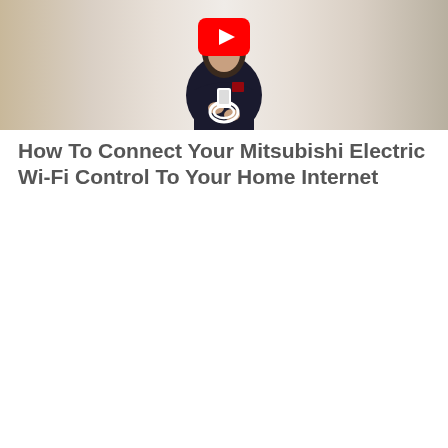[Figure (screenshot): YouTube video thumbnail showing a woman in a dark uniform shirt holding a white cable/device, with a YouTube play button overlay in the center top. Background is a neutral gradient.]
How To Connect Your Mitsubishi Electric Wi-Fi Control To Your Home Internet